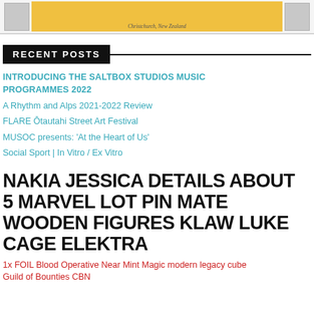[Figure (photo): Partial image showing a yellow object with text 'Christchurch, New Zealand' and grey placeholder images on left and right]
RECENT POSTS
INTRODUCING THE SALTBOX STUDIOS MUSIC PROGRAMMES 2022
A Rhythm and Alps 2021-2022 Review
FLARE Ōtautahi Street Art Festival
MUSOC presents: 'At the Heart of Us'
Social Sport | In Vitro / Ex Vitro
NAKIA JESSICA DETAILS ABOUT 5 MARVEL LOT PIN MATE WOODEN FIGURES KLAW LUKE CAGE ELEKTRA
1x FOIL Blood Operative Near Mint Magic modern legacy cube Guild of Bounties CBN